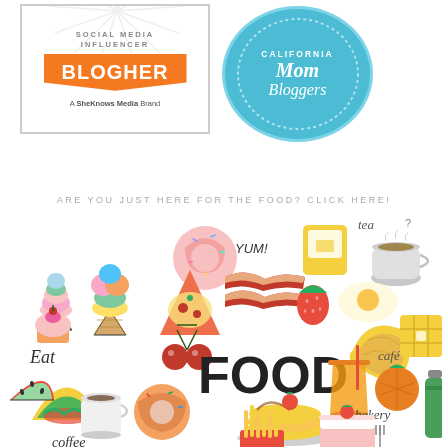[Figure (logo): BlogHer Social Media Influencer badge - orange speech bubble with BLOGHER text, 'A SheKnows Media Brand' caption, sunburst background, bordered box]
[Figure (logo): California Mom Bloggers circular logo in light blue with white script text]
ARE YOU JUST HERE FOR THE FOOD? CLICK HERE!
[Figure (illustration): Food illustration collage with various food items: ice cream cone, cupcake, colorful ice cream cone, donut, pizza slice, bacon, strawberry, toast, fried egg, tea cup, cherries, croissant, waffle, taco, large FOOD text, juice glass, tomato, coffee cup, donut, pancakes, watermelon, bottle, fries with 'YUM!', 'Eat', 'tea', 'cafe', 'bakery', 'coffee' handwritten text]